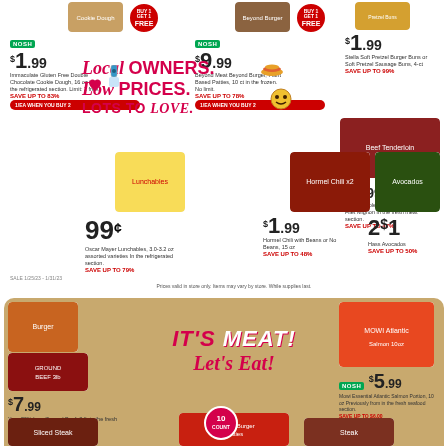[Figure (photo): Grocery store ad flyer - top section showing products: Immaculate Gluten Free Double Chocolate Cookie Dough, Beyond Meat Beyond Burger, Stella Soft Pretzel Buns, Fresh Whole Beef Tenderloin, Oscar Mayer Lunchables, Hormel Chili, Hass Avocados]
Local OWNERS. Low PRICES. LOTS TO Love.
NOSH $1.99 Immaculate Gluten Free Double Chocolate Cookie Dough
NOSH $9.99 Beyond Meat Beyond Burger, Plant Based Patties SAVE UP TO 78%
$1.99 Stella Soft Pretzel Burger Buns or Soft Pretzel Sausage Buns, 4-ct SAVE UP TO 99%
$7.99/LB Fresh Whole Beef Tenderloin for Filet Mignon in the fresh meat section. SAVE UP TO 47%
99¢ Oscar Mayer Lunchables, 3.0-3.2 oz assorted varieties In the refrigerated section. SAVE UP TO 79%
$1.99 Hormel Chili with Beans or No Beans, 15 oz SAVE UP TO 48%
2/$1 Hass Avocados SAVE UP TO 50%
Prices valid in store only. Items may vary by store. While supplies last.
[Figure (photo): Bottom section: IT'S MEAT! Let's Eat! with Ground Beef 3lb $7.99, Mowi Atlantic Salmon Portions 10oz $5.99, burger patties, and steak]
IT'S MEAT! Let's Eat!
NOSH $7.99 Your 73% lean Ground Beef, 3 lb in the fresh meat section. SAVE UP TO $4.49
NOSH $5.99 Mowi Essential Atlantic Salmon Portion, 10 oz Previously from in the fresh seafood section. SAVE UP TO $6.00